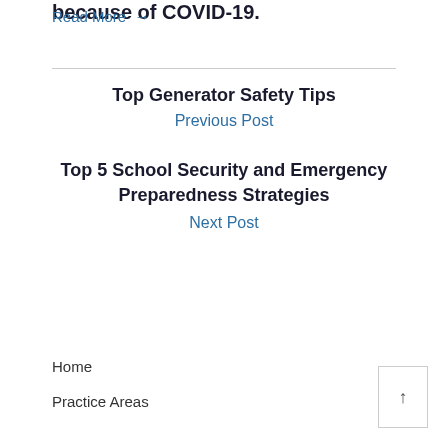because of COVID-19.
Read More →
Top Generator Safety Tips
Previous Post
Top 5 School Security and Emergency Preparedness Strategies
Next Post
Home
Practice Areas